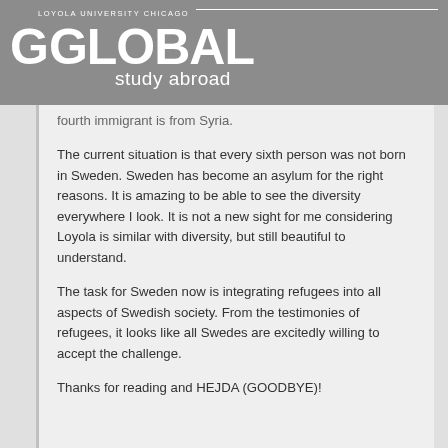LOYOLA UNIVERSITY CHICAGO | GLOBAL study abroad
fourth immigrant is from Syria.
The current situation is that every sixth person was not born in Sweden. Sweden has become an asylum for the right reasons. It is amazing to be able to see the diversity everywhere I look. It is not a new sight for me considering Loyola is similar with diversity, but still beautiful to understand.
The task for Sweden now is integrating refugees into all aspects of Swedish society. From the testimonies of refugees, it looks like all Swedes are excitedly willing to accept the challenge.
Thanks for reading and HEJDA (GOODBYE)!